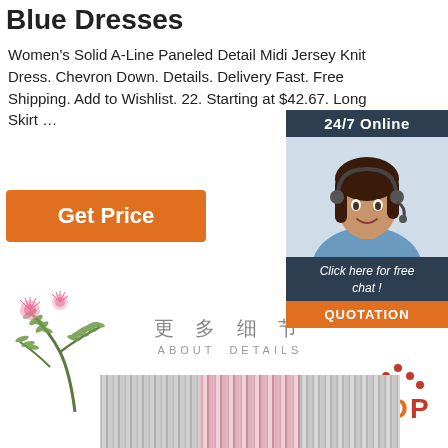Blue Dresses
Women's Solid A-Line Paneled Detail Midi Jersey Knit Dress. Chevron Down. Details. Delivery Fast. Free Shipping. Add to Wishlist. 22. Starting at $42.67. Long Skirt …
[Figure (other): Orange 'Get Price' button]
[Figure (other): 24/7 Online customer service chat widget with female agent wearing headset, dark blue background, 'Click here for free chat!' text, and orange QUOTATION button]
[Figure (illustration): Illustrated pink flowering plant / mimosa tree branch]
更 多 细 节
ABOUT  DETAILS
[Figure (other): Red/orange TOP back-to-top button with dots above]
[Figure (other): Three fabric swatches: gray, pink, and gray patterns]